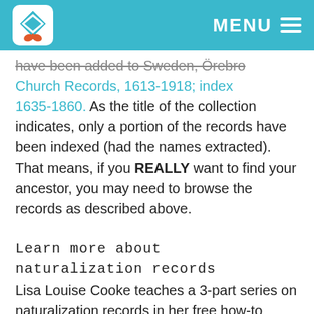MENU
have been added to Sweden, Örebro Church Records, 1613-1918; index 1635-1860. As the title of the collection indicates, only a portion of the records have been indexed (had the names extracted). That means, if you REALLY want to find your ancestor, you may need to browse the records as described above.
Learn more about naturalization records
Lisa Louise Cooke teaches a 3-part series on naturalization records in her free how-to podcast series, Family